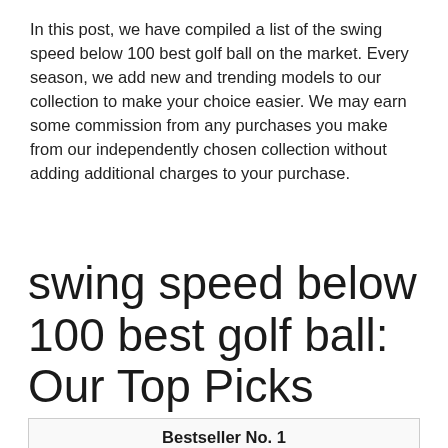In this post, we have compiled a list of the swing speed below 100 best golf ball on the market. Every season, we add new and trending models to our collection to make your choice easier. We may earn some commission from any purchases you make from our independently chosen collection without adding additional charges to your purchase.
swing speed below 100 best golf ball: Our Top Picks
| Bestseller No. 1 |
| --- |